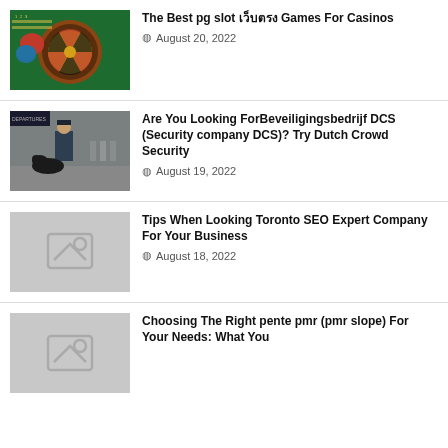[Figure (photo): Roulette table with casino chips and spinning roulette wheel on green felt]
The Best pg slot เว็บตรง Games For Casinos
August 20, 2022
[Figure (photo): Security officer in uniform with a dog at an airport terminal]
Are You Looking ForBeveiligingsbedrijf DCS (Security company DCS)? Try Dutch Crowd Security
August 19, 2022
[Figure (photo): Placeholder image with mountain and sun icon]
Tips When Looking Toronto SEO Expert Company For Your Business
August 18, 2022
[Figure (photo): Placeholder image thumbnail]
Choosing The Right pente pmr (pmr slope) For Your Needs: What You